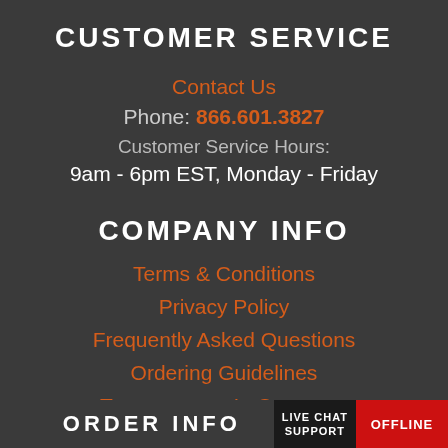CUSTOMER SERVICE
Contact Us
Phone: 866.601.3827
Customer Service Hours:
9am - 6pm EST, Monday - Friday
COMPANY INFO
Terms & Conditions
Privacy Policy
Frequently Asked Questions
Ordering Guidelines
Transparency In Coverage
ORDER INFO
LIVE CHAT SUPPORT
OFFLINE